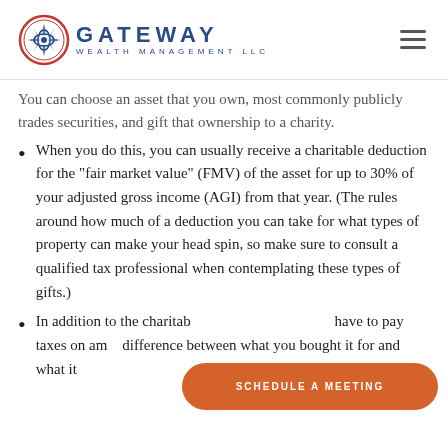GATEWAY WEALTH MANAGEMENT LLC
You can choose an asset that you own, most commonly publicly trades securities, and gift that ownership to a charity.
When you do this, you can usually receive a charitable deduction for the "fair market value" (FMV) of the asset for up to 30% of your adjusted gross income (AGI) from that year. (The rules around how much of a deduction you can take for what types of property can make your head spin, so make sure to consult a qualified tax professional when contemplating these types of gifts.)
In addition to the charitable deduction, you won't have to pay taxes on any... difference between what you bought it for and what it